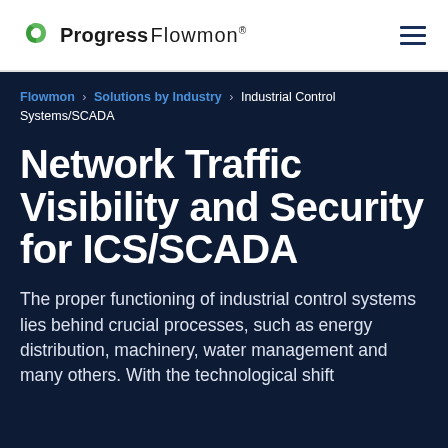Progress Flowmon
Flowmon › Solutions by Industry › Industrial Control Systems/SCADA
Network Traffic Visibility and Security for ICS/SCADA
The proper functioning of industrial control systems lies behind crucial processes, such as energy distribution, machinery, water management and many others. With the technological shift